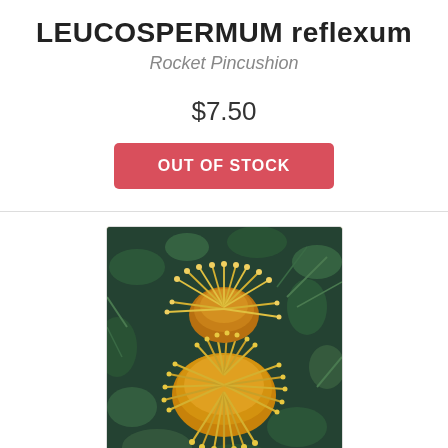LEUCOSPERMUM reflexum
Rocket Pincushion
$7.50
OUT OF STOCK
[Figure (photo): Close-up photo of Leucospermum reflexum (Rocket Pincushion) flowers showing yellow-orange spiky blooms with needle-like styles against dark green foliage background.]